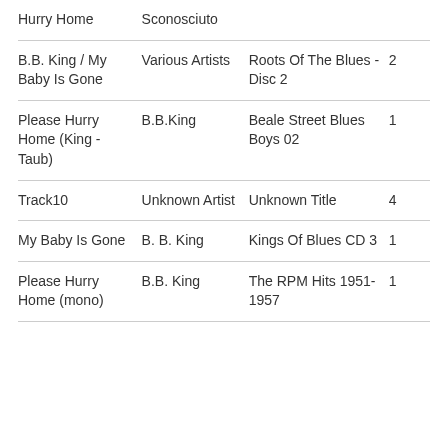| Hurry Home | Sconosciuto |  |  |
| B.B. King / My Baby Is Gone | Various Artists | Roots Of The Blues - Disc 2 | 2 |
| Please Hurry Home (King - Taub) | B.B.King | Beale Street Blues Boys 02 | 1 |
| Track10 | Unknown Artist | Unknown Title | 4 |
| My Baby Is Gone | B. B. King | Kings Of Blues CD 3 | 1 |
| Please Hurry Home (mono) | B.B. King | The RPM Hits 1951-1957 | 1 |